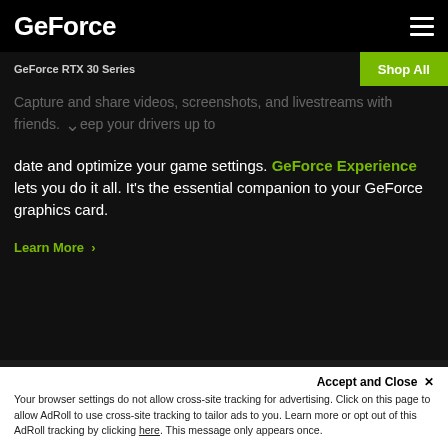GeForce
GeForce RTX 30 Series
Shop All
Capture and share videos, screenshots, and livestreams with friends. Keep your drivers up to date and optimize your game settings. GeForce Experience lets you do it all. It's the essential companion to your GeForce graphics card.
Learn More >
Resizable BAR
Resizable BAR is an advanced PCI Express feature that enables the CPU to access the entire GPU frame buffer at once, improving performance in
Accept and Close ×
Your browser settings do not allow cross-site tracking for advertising. Click on this page to allow AdRoll to use cross-site tracking to tailor ads to you. Learn more or opt out of this AdRoll tracking by clicking here. This message only appears once.